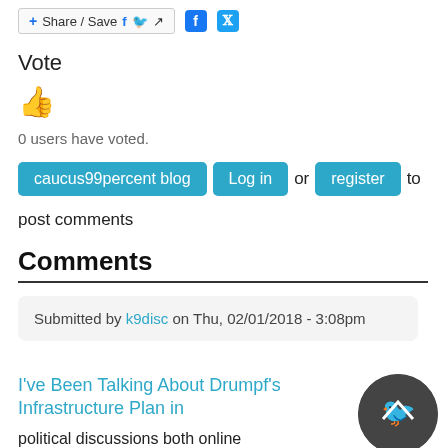[Figure (other): Share/Save button with Facebook and Twitter icons]
Vote
[Figure (other): Thumbs up emoji icon]
0 users have voted.
caucus99percent blog  Log in or register to post comments
Comments
Submitted by k9disc on Thu, 02/01/2018 - 3:08pm
I've Been Talking About Drumpf's Infrastructure Plan in
political discussions both online